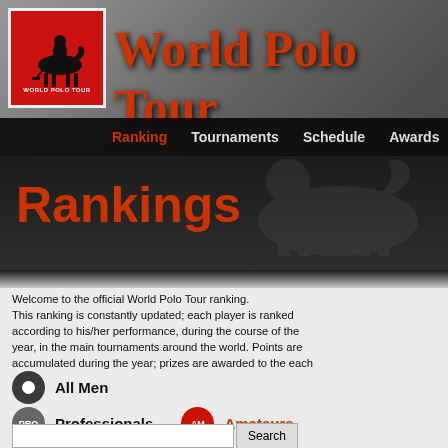World Polo Tour
Rankings
Welcome to the official World Polo Tour ranking. This ranking is constantly updated; each player is ranked according to his/her performance, during the course of the year, in the main tournaments around the world. Points are accumulated during the year; prizes are awarded to the each month's best player and to the overall best player of the year.
All Men
Professionals
Amateurs
All Women
[Figure (screenshot): Foto placeholder image]
Jose jr
Argentin
Nickname:
Status: Am
Sponsor:
Handicap:
Birthdate:
Birthplace:
Residence:
Married:
Highlights
Grand Slam
US Open